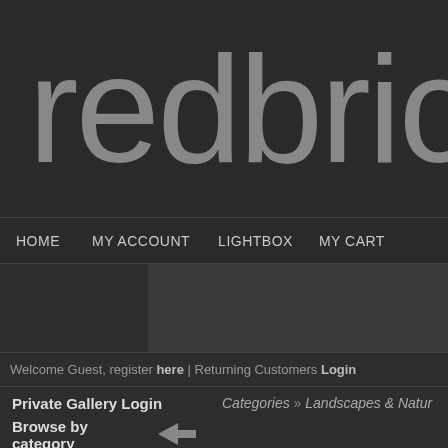redbrick
HOME   MY ACCOUNT   LIGHTBOX   MY CART
[Figure (screenshot): Dark content area with sidebar and main panel]
Welcome Guest, register here | Returning Customers Login
Private Gallery Login
Categories » Landscapes & Nature
Browse by category